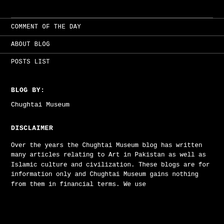COMMENT OF THE DAY
ABOUT BLOG
POSTS LIST
BLOG BY:
Chughtai Museum
DISCLAIMER
Over the years the Chughtai Museum blog has written many articles relating to Art in Pakistan as well as Islamic culture and civilization. These blogs are for information only and Chughtai Museum gains nothing from them in financial terms. We use